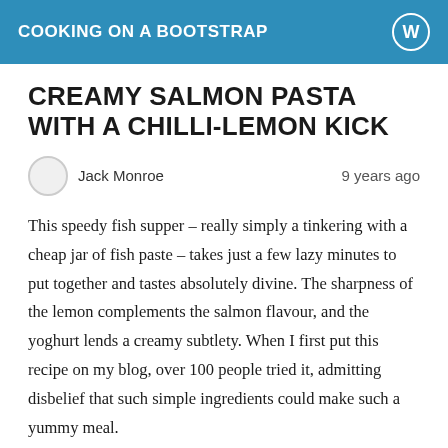COOKING ON A BOOTSTRAP
CREAMY SALMON PASTA WITH A CHILLI-LEMON KICK
Jack Monroe   9 years ago
This speedy fish supper – really simply a tinkering with a cheap jar of fish paste – takes just a few lazy minutes to put together and tastes absolutely divine. The sharpness of the lemon complements the salmon flavour, and the yoghurt lends a creamy subtlety. When I first put this recipe on my blog, over 100 people tried it, admitting disbelief that such simple ingredients could make such a yummy meal.
Serves 2: